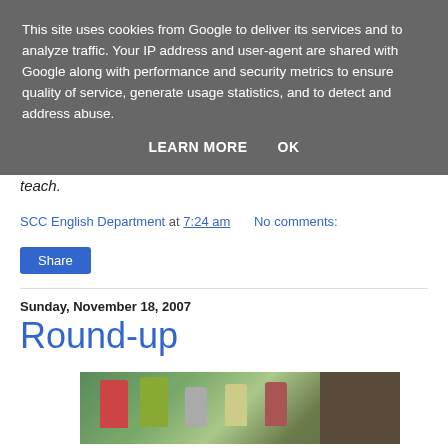This site uses cookies from Google to deliver its services and to analyze traffic. Your IP address and user-agent are shared with Google along with performance and security metrics to ensure quality of service, generate usage statistics, and to detect and address abuse.
LEARN MORE   OK
teach.
SCC English Department at 7:24 am   No comments:
Share
Sunday, November 18, 2007
Round-up
[Figure (photo): Group photo of several people, some waving, in front of a colorful painted mural background]